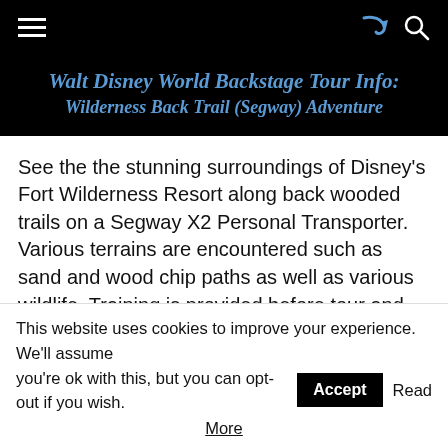Walt Disney World Backstage Tour Info: Wilderness Back Trail (Segway) Adventure
See the the stunning surroundings of Disney’s Fort Wilderness Resort along back wooded trails on a Segway X2 Personal Transporter. Various terrains are encountered such as sand and wood chip paths as well as various wildlife. Training is provided before tour and helmets are provided. Mid-tour there is also a stop at the Tri-Circle D Ranch. Also, guests should
This website uses cookies to improve your experience. We’ll assume you’re ok with this, but you can opt-out if you wish. Accept Read More